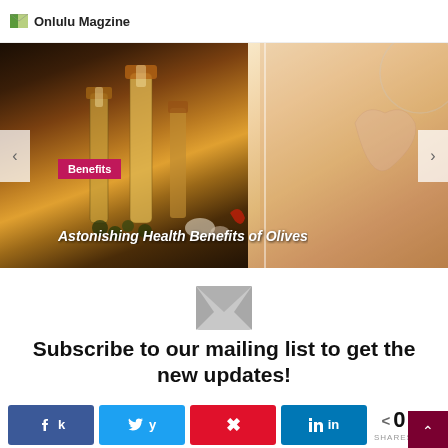Onlulu Magzine
[Figure (photo): Hero image slider showing olive oil bottles on the left and a person making a heart shape with their hands on the right, with navigation arrows and a 'Benefits' category tag]
Astonishing Health Benefits of Olives
[Figure (infographic): Envelope icon for newsletter subscription]
Subscribe to our mailing list to get the new updates!
[Figure (infographic): Social share bar with Facebook, Twitter, Pinterest, LinkedIn buttons and share count showing 0 SHARES]